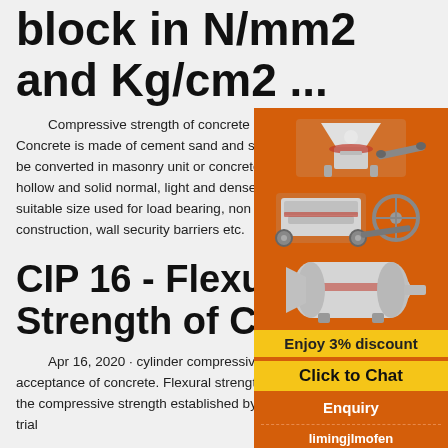block in N/mm2 and Kg/cm2 ...
Compressive strength of concrete block in N/mm2 and Kg/cm2. Concrete is made of cement sand and suitable aggregate and it may be converted in masonry unit or concrete masonry unit or CMU hollow and solid normal, light and denser weight concrete block of suitable size used for load bearing, non load bearing units for house construction, wall security barriers etc.
CIP 16 - Flexural Strength of Concrete
Apr 16, 2020 · cylinder compressive strength for control and acceptance of concrete. Flexural strength can be used for design, but the compressive strength established by a correlation with laboratory trial
[Figure (illustration): Advertisement panel showing industrial mining/crushing machinery (cone crusher, jaw crusher, ball mill) on an orange background, with 'Enjoy 3% discount', 'Click to Chat', 'Enquiry', and contact email 'limingjlmofen@sina.com']